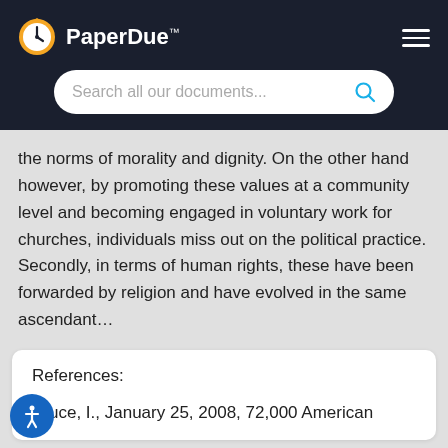PaperDue™
the norms of morality and dignity. On the other hand however, by promoting these values at a community level and becoming engaged in voluntary work for churches, individuals miss out on the political practice. Secondly, in terms of human rights, these have been forwarded by religion and have evolved in the same ascendant…
References:
Bruce, I., January 25, 2008, 72,000 American